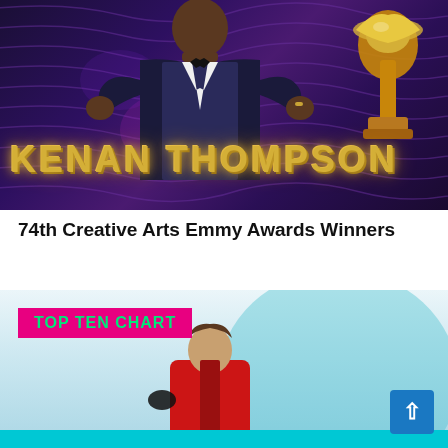[Figure (photo): Promotional image of Kenan Thompson in a tuxedo with Emmy award statue visible on the right side, purple/gold background with wavy texture lines. Text overlay reads 'KENAN THOMPSON' in gold letters.]
74th Creative Arts Emmy Awards Winners
[Figure (photo): Image with 'TOP TEN CHART' badge in pink/magenta box with green text, showing a person in a red jacket against a teal/aqua circular background with light blue sky.]